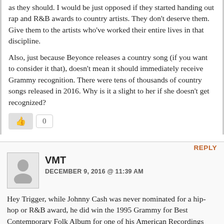as they should. I would be just opposed if they started handing out rap and R&B awards to country artists. They don't deserve them. Give them to the artists who've worked their entire lives in that discipline.
Also, just because Beyonce releases a country song (if you want to consider it that), doesn't mean it should immediately receive Grammy recognition. There were tens of thousands of country songs released in 2016. Why is it a slight to her if she doesn't get recognized?
REPLY
VMT
DECEMBER 9, 2016 @ 11:39 AM
Hey Trigger, while Johnny Cash was never nominated for a hip-hop or R&B award, he did win the 1995 Grammy for Best Contemporary Folk Album for one of his American Recordings albums. That is a lot more than “dabbling” in other genres. The other 1995 Folk Grammy went to Bob Dylan who I think we can both agree is a rock star. Now, both Bob Dylan and Johnny Cash did music of a number of different